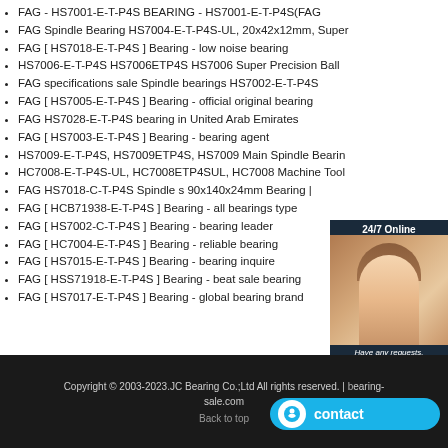FAG - HS7001-E-T-P4S BEARING - HS7001-E-T-P4S(FAG
FAG Spindle Bearing HS7004-E-T-P4S-UL, 20x42x12mm, Super
FAG [ HS7018-E-T-P4S ] Bearing - low noise bearing
HS7006-E-T-P4S HS7006ETP4S HS7006 Super Precision Ball
FAG specifications sale Spindle bearings HS7002-E-T-P4S
FAG [ HS7005-E-T-P4S ] Bearing - official original bearing
FAG HS7028-E-T-P4S bearing in United Arab Emirates
FAG [ HS7003-E-T-P4S ] Bearing - bearing agent
HS7009-E-T-P4S, HS7009ETP4S, HS7009 Main Spindle Bearin
HC7008-E-T-P4S-UL, HC7008ETP4SUL, HC7008 Machine Tool
FAG HS7018-C-T-P4S Spindle s 90x140x24mm Bearing |
FAG [ HCB71938-E-T-P4S ] Bearing - all bearings type
FAG [ HS7002-C-T-P4S ] Bearing - bearing leader
FAG [ HC7004-E-T-P4S ] Bearing - reliable bearing
FAG [ HS7015-E-T-P4S ] Bearing - bearing inquire
FAG [ HSS71918-E-T-P4S ] Bearing - beat sale bearing
FAG [ HS7017-E-T-P4S ] Bearing - global bearing brand
Copyright © 2003-2023.JC Bearing Co.;Ltd All rights reserved. | bearing-sale.com
Back to top